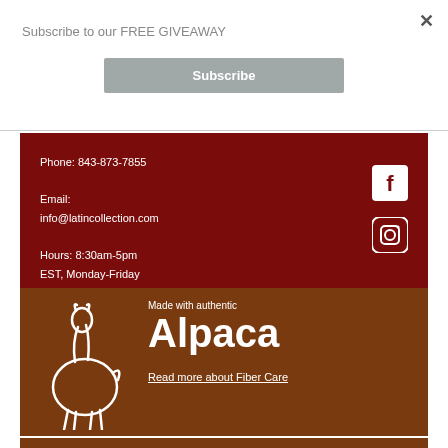×
Subscribe to our FREE GIVEAWAY
Subscribe
Phone: 843-873-7855
Email:
info@latincollection.com
Hours: 8:30am-5pm
EST, Monday-Friday
[Figure (logo): Facebook icon - white F on dark red square background]
[Figure (logo): Instagram icon - camera outline in white circle on dark red background]
[Figure (illustration): White outline illustration of an alpaca on brown background]
Made with authentic
Alpaca
Read more about Fiber Care